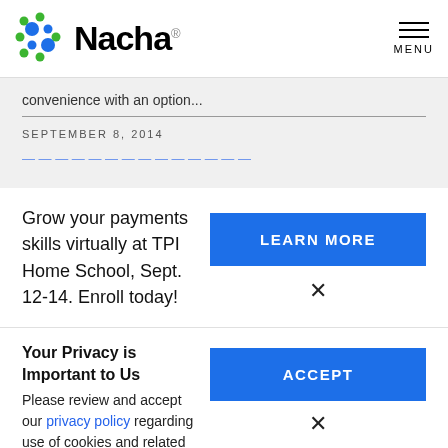[Figure (logo): Nacha logo with colorful dot pattern and wordmark]
convenience with an option...
SEPTEMBER 8, 2014
Grow your payments skills virtually at TPI Home School, Sept. 12-14. Enroll today!
LEARN MORE
Your Privacy is Important to Us
Please review and accept our privacy policy regarding use of cookies and related technologies.
ACCEPT